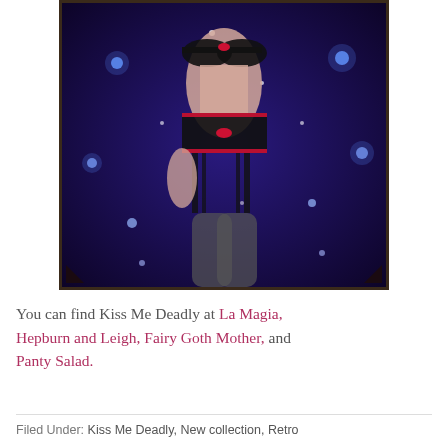[Figure (photo): A woman wearing black lingerie with red accents (bra, garter belt, suspenders, and stockings) posed against a dark blue starry night sky background. The image is framed with a dark decorative border.]
You can find Kiss Me Deadly at La Magia, Hepburn and Leigh, Fairy Goth Mother, and Panty Salad.
Filed Under: Kiss Me Deadly, New collection, Retro